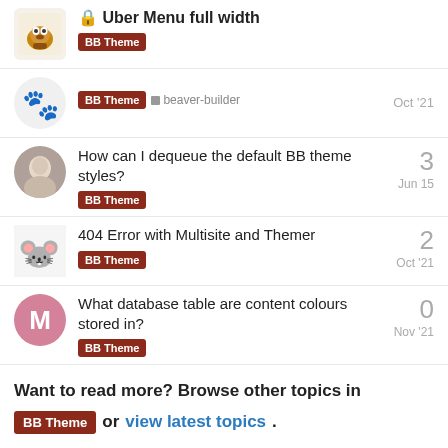Uber Menu full width — BB Theme
BB Theme  beaver-builder  Oct '21
How can I dequeue the default BB theme styles? — BB Theme — Jun 15 — 3 replies
404 Error with Multisite and Themer — BB Theme — Oct '21 — 2 replies
What database table are content colours stored in? — BB Theme — Nov '21 — 0 replies
Want to read more? Browse other topics in BB Theme or view latest topics.